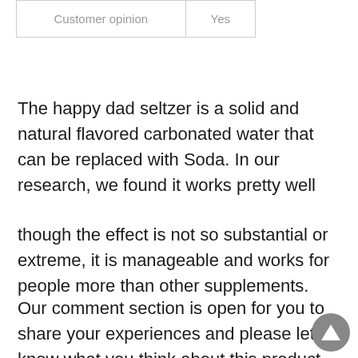| Customer opinion | Yes |
The happy dad seltzer is a solid and natural flavored carbonated water that can be replaced with Soda. In our research, we found it works pretty well
though the effect is not so substantial or extreme, it is manageable and works for people more than other supplements.
Our comment section is open for you to share your experiences and please let us know what you think about this product.